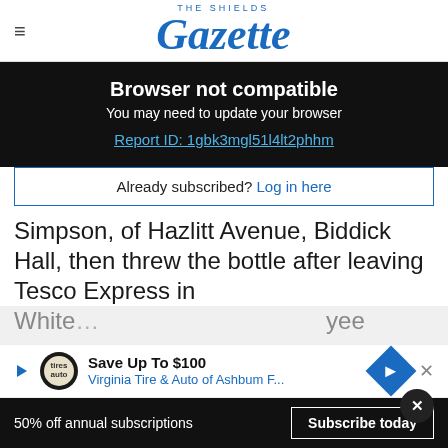THE SHIELDS Gazette
Browser not compatible
You may need to update your browser
Report ID: 1gbk3mgl51l4lt2phhm
Already subscribed? Log in here
Simpson, of Hazlitt Avenue, Biddick Hall, then threw the bottle after leaving Tesco Express in
White... yee on an...
Save Up To $100 Virginia Tire & Auto of Ashbum F...
50% off annual subscriptions  Subscribe today